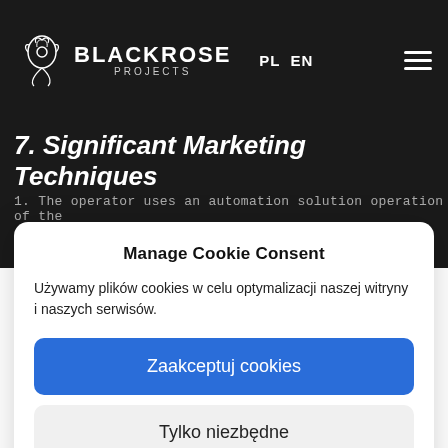[Figure (logo): BlackRose Projects logo with rose icon, brand name BLACKROSE in bold white text and PROJECTS in spaced gray text below, with PL EN language switcher and hamburger menu on dark background]
7. Significant Marketing Techniques
1. The operator uses an automation solution operation of the
Manage Cookie Consent
Używamy plików cookies w celu optymalizacji naszej witryny i naszych serwisów.
Zaakceptuj cookies
Tylko niezbędne
Zobacz preferencje